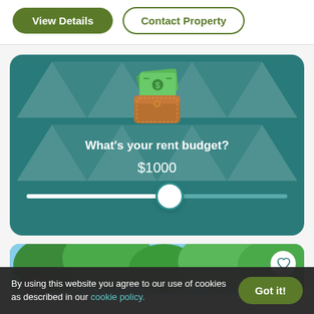[Figure (screenshot): Two buttons: 'View Details' (green filled) and 'Contact Property' (green outline)]
[Figure (infographic): Teal card with wallet icon, text 'What's your rent budget?', '$1000', and a slider at ~50% position]
[Figure (photo): Partial photo strip showing green trees and blue sky with a heart/favorite icon in the top right]
By using this website you agree to our use of cookies as described in our cookie policy.